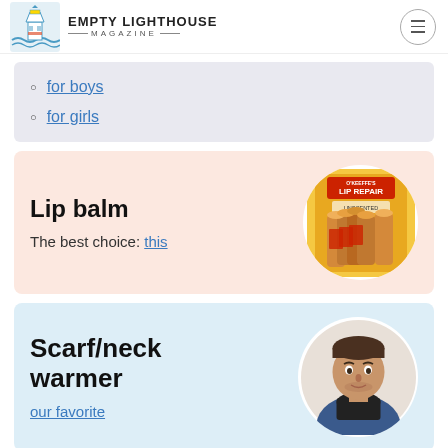EMPTY LIGHTHOUSE MAGAZINE
for boys
for girls
Lip balm
The best choice: this
[Figure (photo): O'Keeffe's Lip Repair lip balm sticks in orange packaging]
Scarf/neck warmer
our favorite
[Figure (photo): Man wearing a black neck warmer/scarf gaiter]